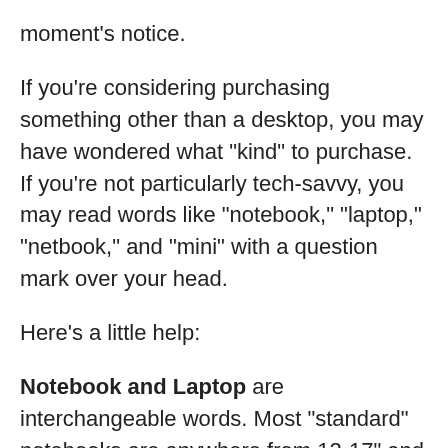moment's notice.
If you're considering purchasing something other than a desktop, you may have wondered what "kind" to purchase. If you're not particularly tech-savvy, you may read words like "notebook," "laptop," "netbook," and "mini" with a question mark over your head.
Here's a little help:
Notebook and Laptop are interchangeable words. Most "standard" notebooks are anywhere from 12-17" and range in price from $300-$3,000+, depending on what brand you select and what features you prioritize. Laptops trump desktops for everyday use, in my opinion. I'm always surprised when I see a friend go out and buy a desktop in this day and age. Unless you require a bigger screen due to poor eyesight or specific tasks that you need to accomplish, laptops are